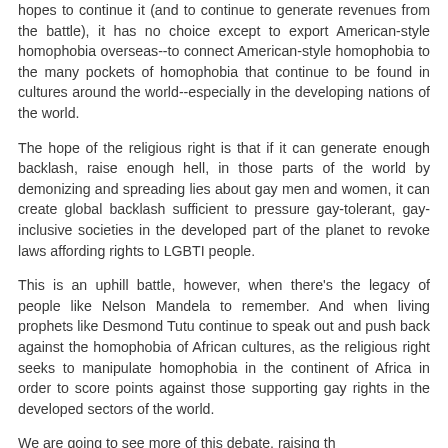hopes to continue it (and to continue to generate revenues from the battle), it has no choice except to export American-style homophobia overseas--to connect American-style homophobia to the many pockets of homophobia that continue to be found in cultures around the world--especially in the developing nations of the world.
The hope of the religious right is that if it can generate enough backlash, raise enough hell, in those parts of the world by demonizing and spreading lies about gay men and women, it can create global backlash sufficient to pressure gay-tolerant, gay-inclusive societies in the developed part of the planet to revoke laws affording rights to LGBTI people.
This is an uphill battle, however, when there's the legacy of people like Nelson Mandela to remember. And when living prophets like Desmond Tutu continue to speak out and push back against the homophobia of African cultures, as the religious right seeks to manipulate homophobia in the continent of Africa in order to score points against those supporting gay rights in the developed sectors of the world.
We are going to see more of this debate, raising the...